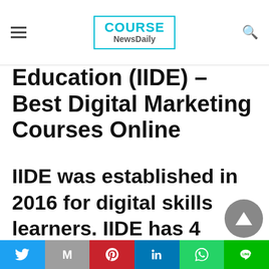COURSE NewsDaily
Education (IIDE) – Best Digital Marketing Courses Online
IIDE was established in 2016 for digital skills learners. IIDE has 4 branches located at Andheri, Churchgate, Mulund, and Navi Mumbai. The Digital Marketing Courses Online is
Twitter | Gmail | Pinterest | LinkedIn | WhatsApp | Line